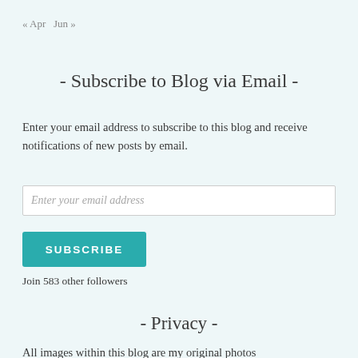« Apr   Jun »
- Subscribe to Blog via Email -
Enter your email address to subscribe to this blog and receive notifications of new posts by email.
Enter your email address
SUBSCRIBE
Join 583 other followers
- Privacy -
All images within this blog are my original photos